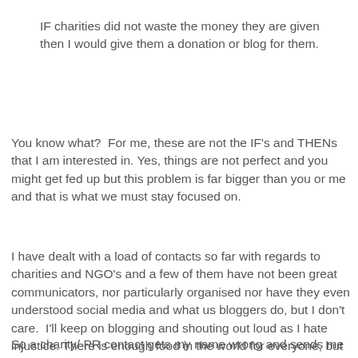IF charities did not waste the money they are given then I would give them a donation or blog for them.
You know what?  For me, these are not the IF's and THENs that I am interested in. Yes, things are not perfect and you might get fed up but this problem is far bigger than you or me and that is what we must stay focused on.
I have dealt with a load of contacts so far with regards to charities and NGO's and a few of them have not been great communicators, nor particularly organised nor have they even understood social media and what us bloggers do, but I don't care.  I'll keep on blogging and shouting out loud as I hate injustice. There is enough food in the world for everyone, but at the moment that food is not accessible to everyone. This CAN change. We have to help fight for that change.
So a charity/ PR contact gets my name wrong and sends me